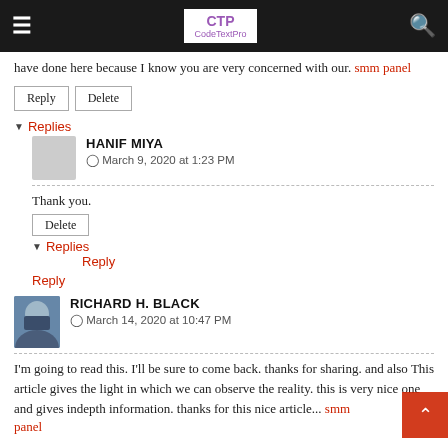CTP CodeTextPro
have done here because I know you are very concerned with our. smm panel
Reply | Delete
▾ Replies
HANIF MIYA
March 9, 2020 at 1:23 PM
Thank you.
Delete
▾ Replies
Reply
Reply
RICHARD H. BLACK
March 14, 2020 at 10:47 PM
I'm going to read this. I'll be sure to come back. thanks for sharing. and also This article gives the light in which we can observe the reality. this is very nice one and gives indepth information. thanks for this nice article... smm panel